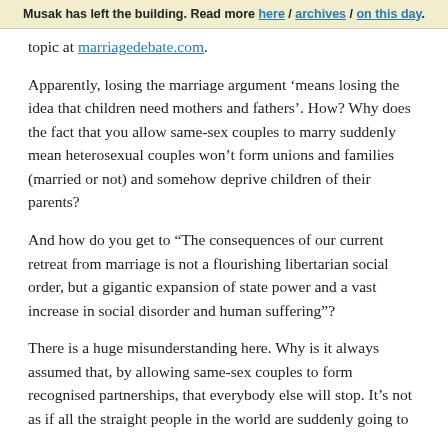Musak has left the building. Read more here / archives / on this day.
topic at marriagedebate.com.
Apparently, losing the marriage argument ‘means losing the idea that children need mothers and fathers’. How? Why does the fact that you allow same-sex couples to marry suddenly mean heterosexual couples won’t form unions and families (married or not) and somehow deprive children of their parents?
And how do you get to “The consequences of our current retreat from marriage is not a flourishing libertarian social order, but a gigantic expansion of state power and a vast increase in social disorder and human suffering”?
There is a huge misunderstanding here. Why is it always assumed that, by allowing same-sex couples to form recognised partnerships, that everybody else will stop. It’s not as if all the straight people in the world are suddenly going to